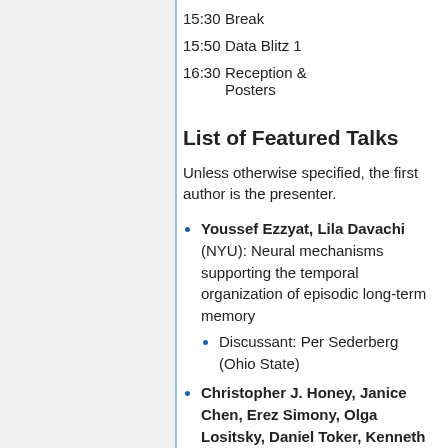15:30 Break
15:50 Data Blitz 1
16:30 Reception & Posters
List of Featured Talks
Unless otherwise specified, the first author is the presenter.
Youssef Ezzyat, Lila Davachi (NYU): Neural mechanisms supporting the temporal organization of episodic long-term memory
Discussant: Per Sederberg (Ohio State)
Christopher J. Honey, Janice Chen, Erez Simony, Olga Lositsky, Daniel Toker, Kenneth A. Norman,